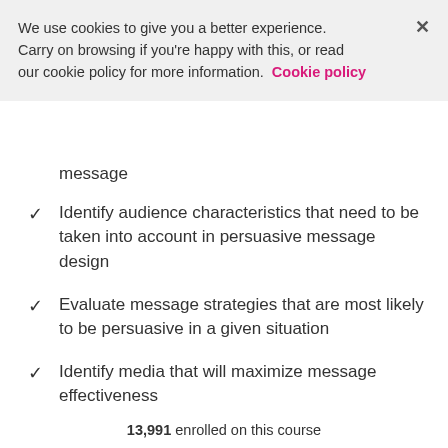We use cookies to give you a better experience. Carry on browsing if you're happy with this, or read our cookie policy for more information. Cookie policy
message
Identify audience characteristics that need to be taken into account in persuasive message design
Evaluate message strategies that are most likely to be persuasive in a given situation
Identify media that will maximize message effectiveness
D...
13,991 enrolled on this course